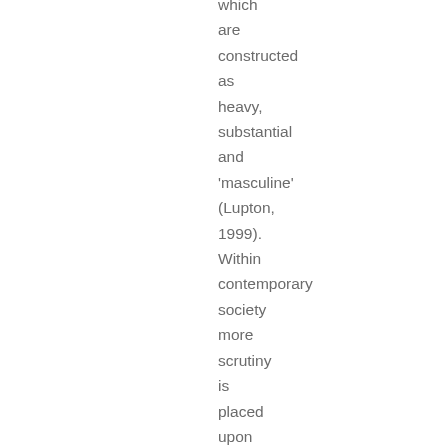which are constructed as heavy, substantial and 'masculine' (Lupton, 1999). Within contemporary society more scrutiny is placed upon the weight issues of